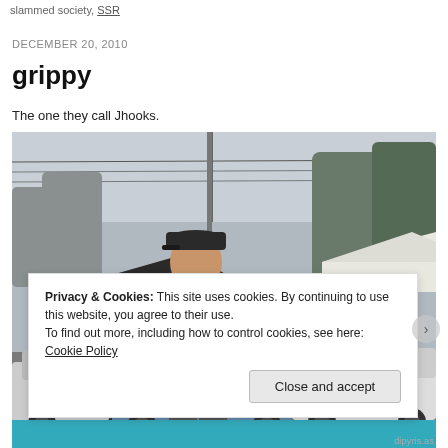slammed society, SSR
DECEMBER 20, 2010
grippy
The one they call Jhooks.
[Figure (photo): A man wearing a black cap and dark jacket with a plaid shirt stands in a parking lot. Behind him are parked cars, dark canopy tents, bare trees, and a white tent. The scene appears to be at an outdoor car show on an overcast day.]
Privacy & Cookies: This site uses cookies. By continuing to use this website, you agree to their use.
To find out more, including how to control cookies, see here: Cookie Policy
Close and accept